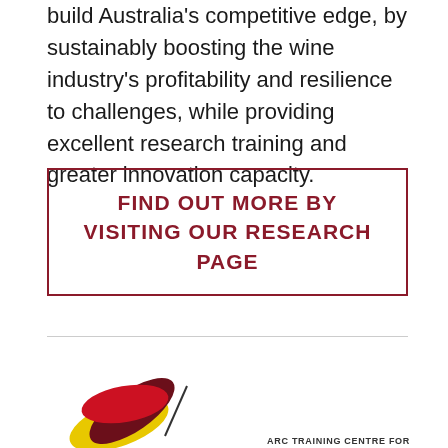build Australia's competitive edge, by sustainably boosting the wine industry's profitability and resilience to challenges, while providing excellent research training and greater innovation capacity.
FIND OUT MORE BY VISITING OUR RESEARCH PAGE
[Figure (logo): ARC Training Centre for logo mark with overlapping red, dark red, and yellow leaf/petal shapes, with text to the right]